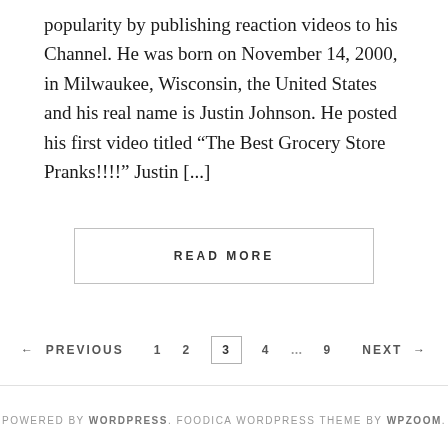popularity by publishing reaction videos to his Channel. He was born on November 14, 2000, in Milwaukee, Wisconsin, the United States and his real name is Justin Johnson. He posted his first video titled “The Best Grocery Store Pranks!!!!” Justin [...]
READ MORE
← PREVIOUS   1   2   3   4   …   9   NEXT →
POWERED BY WORDPRESS. FOODICA WORDPRESS THEME BY WPZOOM.